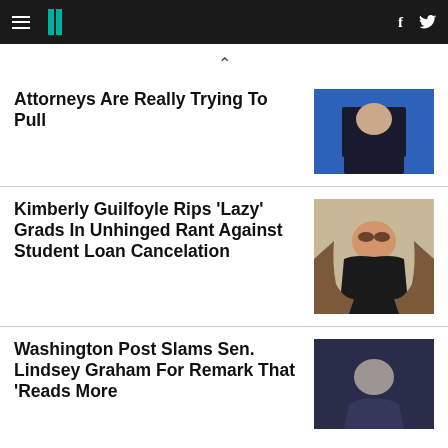HuffPost navigation bar with logo, hamburger menu, Facebook and Twitter icons
^
Attorneys Are Really Trying To Pull
[Figure (photo): Thumbnail photo of a person from shoulders up against blue background]
Kimberly Guilfoyle Rips 'Lazy' Grads In Unhinged Rant Against Student Loan Cancelation
[Figure (photo): Thumbnail photo of Kimberly Guilfoyle with long brown hair]
Washington Post Slams Sen. Lindsey Graham For Remark That 'Reads More
[Figure (photo): Thumbnail photo of Sen. Lindsey Graham]